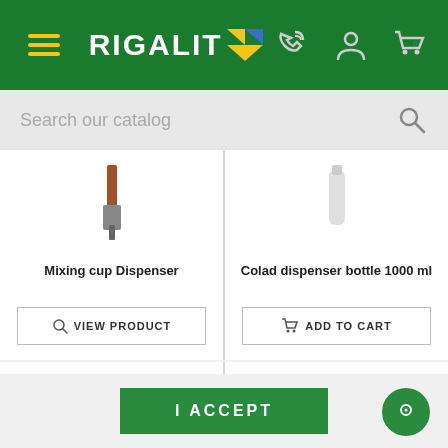[Figure (screenshot): Rigalit website header with green background, hamburger menu, Rigalit logo with yellow and blue arrow, phone, user, and cart icons]
Search our catalog
[Figure (photo): Mixing cup Dispenser product image]
Mixing cup Dispenser
VIEW PRODUCT
[Figure (photo): Colad dispenser bottle 1000 ml product image]
Colad dispenser bottle 1000 ml
ADD TO CART
I ACCEPT